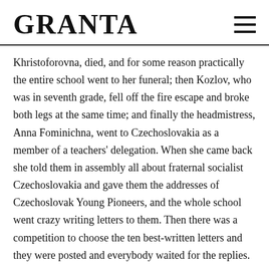GRANTA
Khristoforovna, died, and for some reason practically the entire school went to her funeral; then Kozlov, who was in seventh grade, fell off the fire escape and broke both legs at the same time; and finally the headmistress, Anna Fominichna, went to Czechoslovakia as a member of a teachers' delegation. When she came back she told them in assembly all about fraternal socialist Czechoslovakia and gave them the addresses of Czechoslovak Young Pioneers, and the whole school went crazy writing letters to them. Then there was a competition to choose the ten best-written letters and they were posted and everybody waited for the replies.
Then it was the beginning of March and everybody was making preparations for International Women's Day on 8